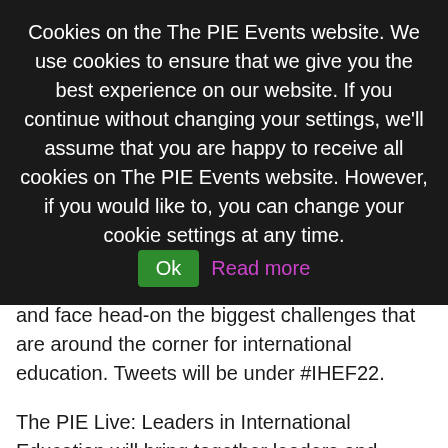Cookies on the The PIE Events website. We use cookies to ensure that we give you the best experience on our website. If you continue without changing your settings, we'll assume that you are happy to receive all cookies on The PIE Events website. However, if you would like to, you can change your cookie settings at any time. Ok  Read more
leadership teams anticipate the unexpected and face head-on the biggest challenges that are around the corner for international education. Tweets will be under #IHEF22.
The PIE Live: Leaders in International Education will bring together leaders and aspiring leaders working in international education to learn about subject areas and products that will enhance their ability to excel in their careers. Building knowledge and networks, the two-day event from The PIE